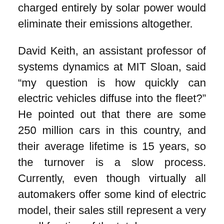charged entirely by solar power would eliminate their emissions altogether.
David Keith, an assistant professor of systems dynamics at MIT Sloan, said “my question is how quickly can electric vehicles diffuse into the fleet?” He pointed out that there are some 250 million cars in this country, and their average lifetime is 15 years, so the turnover is a slow process. Currently, even though virtually all automakers offer some kind of electric model, their sales still represent a very small fraction of the total.
Christopher Knittel, the George P. Shultz Professor at MIT Sloan, said there has been great progress in lowering the costs of the kind of lightweight batteries needed for electric vehicles, and that as